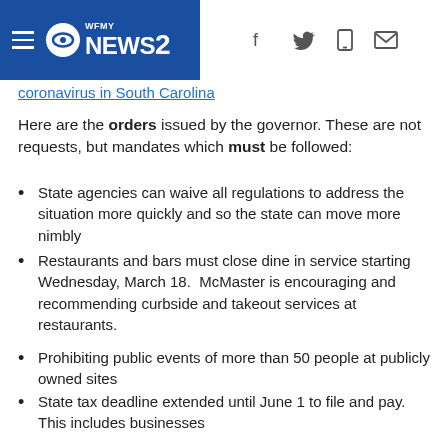WFMY NEWS 2
coronavirus in South Carolina
Here are the orders issued by the governor. These are not requests, but mandates which must be followed:
State agencies can waive all regulations to address the situation more quickly and so the state can move more nimbly
Restaurants and bars must close dine in service starting Wednesday, March 18.  McMaster is encouraging and recommending curbside and takeout services at restaurants.
Prohibiting public events of more than 50 people at publicly owned sites
State tax deadline extended until June 1 to file and pay. This includes businesses
DHEC will waive regulations so they can use nursing schools students
The National Guard has been asked to coordinate with